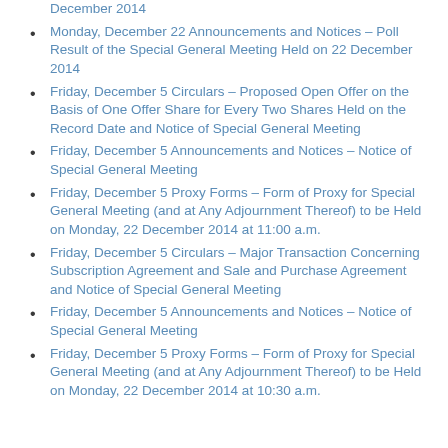December 2014
Monday, December 22 Announcements and Notices – Poll Result of the Special General Meeting Held on 22 December 2014
Friday, December 5 Circulars – Proposed Open Offer on the Basis of One Offer Share for Every Two Shares Held on the Record Date and Notice of Special General Meeting
Friday, December 5 Announcements and Notices – Notice of Special General Meeting
Friday, December 5 Proxy Forms – Form of Proxy for Special General Meeting (and at Any Adjournment Thereof) to be Held on Monday, 22 December 2014 at 11:00 a.m.
Friday, December 5 Circulars – Major Transaction Concerning Subscription Agreement and Sale and Purchase Agreement and Notice of Special General Meeting
Friday, December 5 Announcements and Notices – Notice of Special General Meeting
Friday, December 5 Proxy Forms – Form of Proxy for Special General Meeting (and at Any Adjournment Thereof) to be Held on Monday, 22 December 2014 at 10:30 a.m.